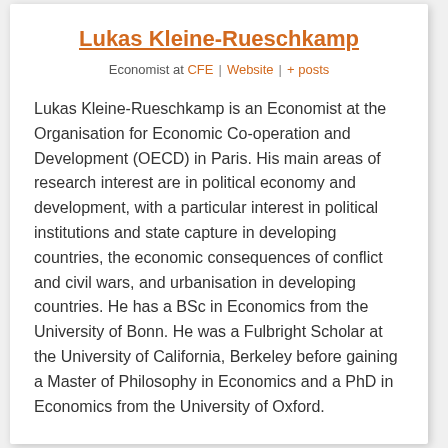Lukas Kleine-Rueschkamp
Economist at CFE  |  Website  |  + posts
Lukas Kleine-Rueschkamp is an Economist at the Organisation for Economic Co-operation and Development (OECD) in Paris. His main areas of research interest are in political economy and development, with a particular interest in political institutions and state capture in developing countries, the economic consequences of conflict and civil wars, and urbanisation in developing countries. He has a BSc in Economics from the University of Bonn. He was a Fulbright Scholar at the University of California, Berkeley before gaining a Master of Philosophy in Economics and a PhD in Economics from the University of Oxford.